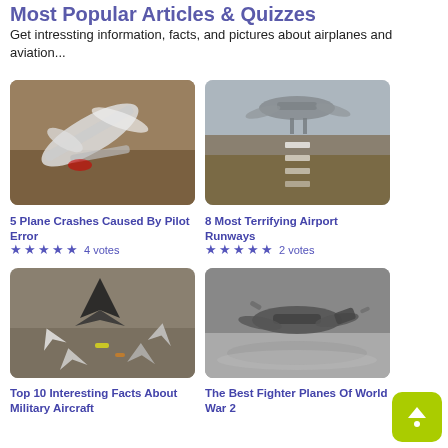Most Popular Articles & Quizzes
Get intressting information, facts, and pictures about airplanes and aviation...
[Figure (photo): Aerial view of plane crash wreckage on brown ground]
5 Plane Crashes Caused By Pilot Error
★★★★★ 4 votes
[Figure (photo): Large airplane landing on a runway, viewed from ground level]
8 Most Terrifying Airport Runways
★★★★★ 2 votes
[Figure (photo): Multiple military aircraft models viewed from above on pavement]
Top 10 Interesting Facts About Military Aircraft
[Figure (photo): Black and white photo of WWII fighter plane in distress over water]
The Best Fighter Planes Of World War 2